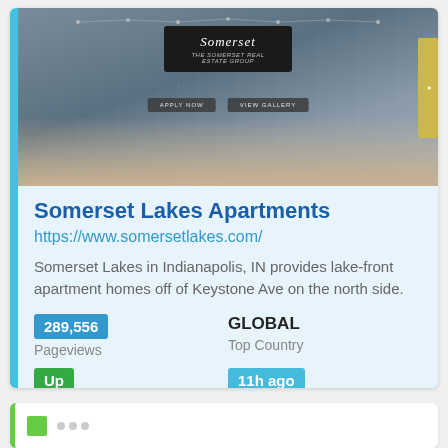[Figure (screenshot): Screenshot of Somerset Lakes Apartments website showing outdoor lounge area with string lights and logo]
Somerset Lakes Apartments
https://www.somersetlakes.com/
Somerset Lakes in Indianapolis, IN provides lake-front apartment homes off of Keystone Ave on the north side.
289,556 Pageviews
GLOBAL Top Country
Up Site Status
11h ago Last Pinged